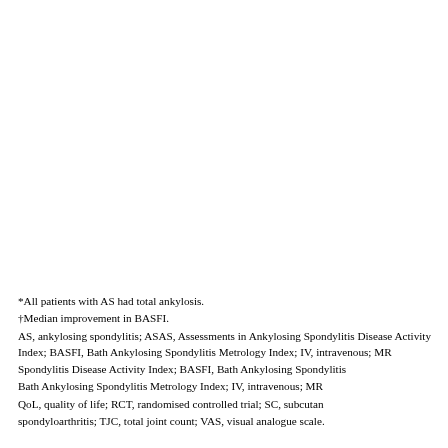*All patients with AS had total ankylosis.
†Median improvement in BASFI.
AS, ankylosing spondylitis; ASAS, Assessments in Ankylosing Spondylitis Disease Activity Index; BASFI, Bath Ankylosing Spondylitis Disease Activity Index; BASFI, Bath Ankylosing Spondylitis Functional Index; BASMI, Bath Ankylosing Spondylitis Metrology Index; IV, intravenous; MRI, magnetic resonance imaging; QoL, quality of life; RCT, randomised controlled trial; SC, subcutaneous; SpA, spondyloarthritis; TJC, total joint count; VAS, visual analogue scale.